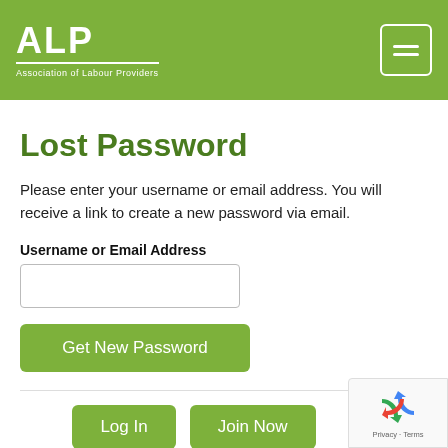[Figure (logo): ALP - Association of Labour Providers logo in white on green header, with hamburger menu icon top right]
Lost Password
Please enter your username or email address. You will receive a link to create a new password via email.
Username or Email Address
[Figure (screenshot): Text input field for username or email address]
[Figure (screenshot): Get New Password button (green)]
[Figure (screenshot): Log In and Join Now buttons (green), with reCAPTCHA widget in bottom right corner]